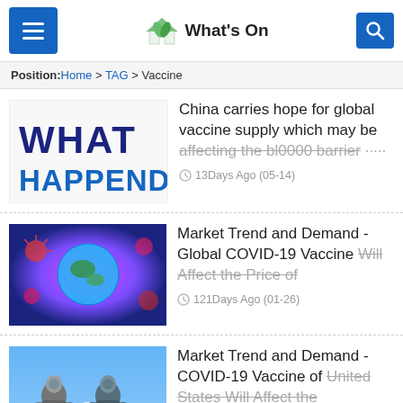What's On
Position: Home > TAG > Vaccine
[Figure (screenshot): Article thumbnail with dark blue text 'WHAT HAPPEND' on white background]
China carries hope for global vaccine supply which may be affecting the bl0000 barrier...
13Days Ago (05-14)
[Figure (photo): Colorful illustration of COVID-19 virus particles surrounding a globe]
Market Trend and Demand - Global COVID-19 Vaccine Will Affect the Price of
121Days Ago (01-26)
[Figure (photo): Two people in hazmat suits with US Capitol building in background against blue sky]
Market Trend and Demand - COVID-19 Vaccine of United States Will Affect the
125Days Ago (01-22)